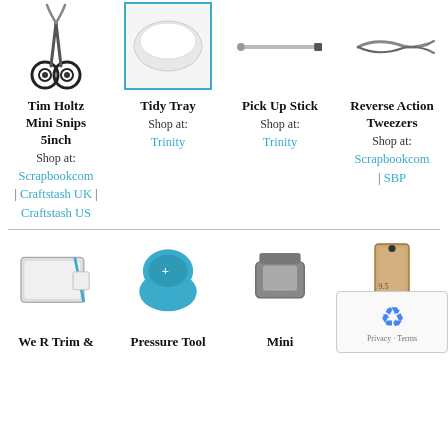[Figure (photo): Product grid showing crafting tools: Tim Holtz Mini Snips scissors, Tidy Tray (teal-bordered white tray), Pick Up Stick (thin tool), Reverse Action Tweezers]
Tim Holtz Mini Snips 5inch
Shop at:
Scrapbookcom | Craftstash UK | Craftstash US
Tidy Tray
Shop at:
Trinity
Pick Up Stick
Shop at:
Trinity
Reverse Action Tweezers
Shop at:
Scrapbookcom | SBP
[Figure (photo): Bottom product grid: We R Trim & (trimmer/cutting mat), Pressure Tool (teal mushroom-shaped tool), Mini (gray device), 9.5 inch (product in packaging)]
We R Trim &
Pressure Tool
Mini
9.5 inch